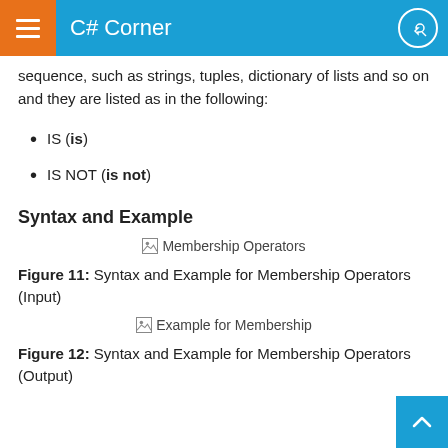C# Corner
sequence, such as strings, tuples, dictionary of lists and so on and they are listed as in the following:
IS (is)
IS NOT (is not)
Syntax and Example
[Figure (screenshot): Broken image placeholder labeled 'Membership Operators']
Figure 11: Syntax and Example for Membership Operators (Input)
[Figure (screenshot): Broken image placeholder labeled 'Example for Membership']
Figure 12: Syntax and Example for Membership Operators (Output)